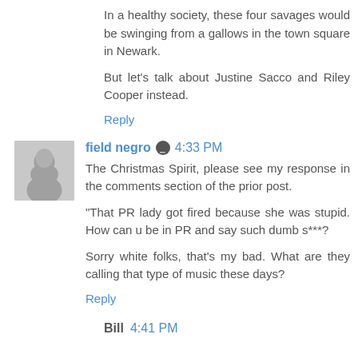In a healthy society, these four savages would be swinging from a gallows in the town square in Newark.
But let's talk about Justine Sacco and Riley Cooper instead.
Reply
field negro  4:33 PM
The Christmas Spirit, please see my response in the comments section of the prior post.
"That PR lady got fired because she was stupid. How can u be in PR and say such dumb s***?
Sorry white folks, that's my bad. What are they calling that type of music these days?
Reply
Bill  4:41 PM